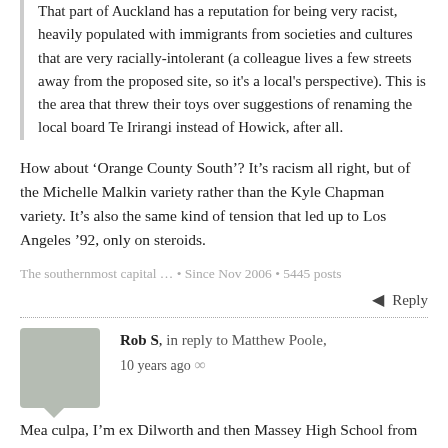That part of Auckland has a reputation for being very racist, heavily populated with immigrants from societies and cultures that are very racially-intolerant (a colleague lives a few streets away from the proposed site, so it's a local's perspective). This is the area that threw their toys over suggestions of renaming the local board Te Irirangi instead of Howick, after all.
How about 'Orange County South'? It's racism all right, but of the Michelle Malkin variety rather than the Kyle Chapman variety. It's also the same kind of tension that led up to Los Angeles '92, only on steroids.
The southernmost capital ... • Since Nov 2006 • 5445 posts
Reply
Rob S, in reply to Matthew Poole, 10 years ago
Mea culpa, I'm ex Dilworth and then Massey High School from 14 years old and on. Whenever it